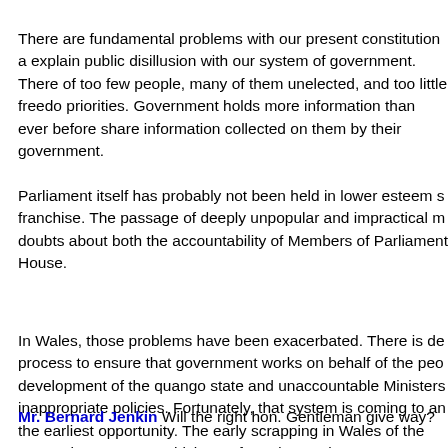There are fundamental problems with our present constitutional arrange... explain public disillusion with our system of government. There... of too few people, many of them unelected, and too little freedo... priorities. Government holds more information than ever before... share information collected on them by their government.
Parliament itself has probably not been held in lower esteem s... franchise. The passage of deeply unpopular and impractical m... doubts about both the accountability of Members of Parliamen... House.
In Wales, those problems have been exacerbated. There is de... process to ensure that government works on behalf of the peo... development of the quango state and unaccountable Ministers... inappropriate policies. Fortunately, that system is coming to an... the earliest opportunity. The early scrapping in Wales of the wa... vouchers system, which was forced on us by an unaccountabl... determination of the new Government to translate our new pol...
Mr. Bernard Jenkin Will the right hon. Gentleman give way?